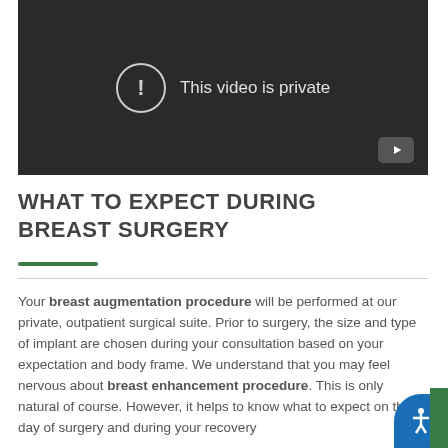[Figure (screenshot): Video player showing 'This video is private' message with exclamation icon and YouTube button]
WHAT TO EXPECT DURING BREAST SURGERY
Your breast augmentation procedure will be performed at our private, outpatient surgical suite. Prior to surgery, the size and type of implant are chosen during your consultation based on your expectation and body frame. We understand that you may feel nervous about breast enhancement procedure. This is only natural of course. However, it helps to know what to expect on the day of surgery and during your recovery